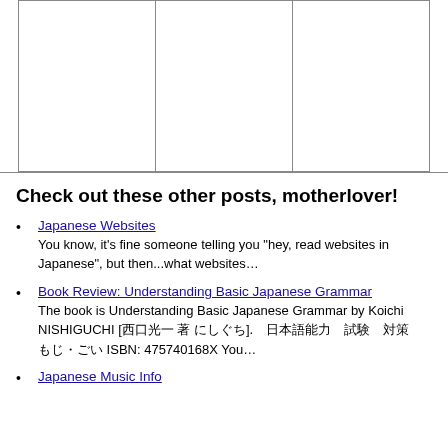[Figure (other): Three empty bordered rectangular cells side by side forming a table-like image area at the top of the page]
Check out these other posts, motherlover!
Japanese Websites
You know, it's fine someone telling you "hey, read websites in Japanese", but then...what websites…
Book Review: Understanding Basic Japanese Grammar
The book is Understanding Basic Japanese Grammar by Koichi NISHIGUCHI [西口光一 著 にしぐち]. 日本語能力 試験 対策 もじ・ごい ISBN: 475740168X You…
Japanese Music Info